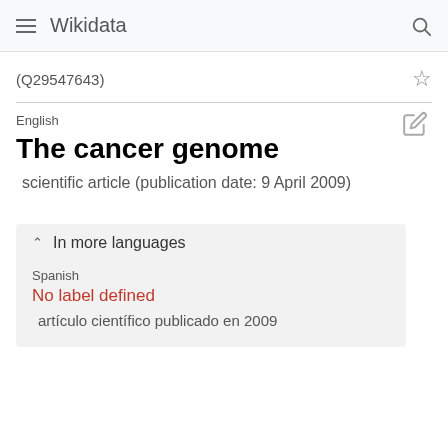Wikidata
(Q29547643)
The cancer genome
scientific article (publication date: 9 April 2009)
In more languages
Spanish
No label defined
artículo científico publicado en 2009